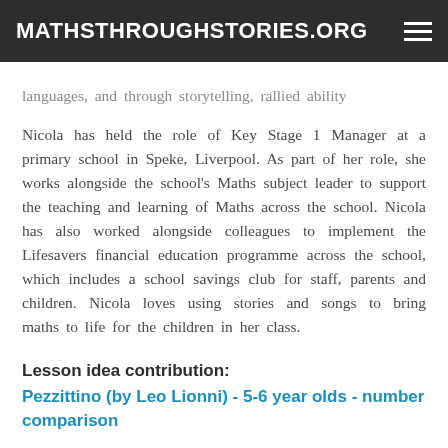MATHSTHROUGHSTORIES.ORG
languages, and through storytelling, rallied ability Nicola has held the role of Key Stage 1 Manager at a primary school in Speke, Liverpool. As part of her role, she works alongside the school's Maths subject leader to support the teaching and learning of Maths across the school. Nicola has also worked alongside colleagues to implement the Lifesavers financial education programme across the school, which includes a school savings club for staff, parents and children. Nicola loves using stories and songs to bring maths to life for the children in her class.
Lesson idea contribution:
Pezzittino (by Leo Lionni) - 5-6 year olds - number comparison